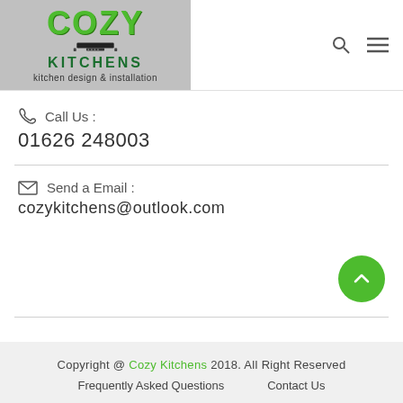[Figure (logo): Cozy Kitchens logo with gray background, green COZY text, dark green KITCHENS text, kitchen hood icon, tagline 'kitchen design & installation']
Call Us : 01626 248003
Send a Email : cozykitchens@outlook.com
Copyright @ Cozy Kitchens 2018. All Right Reserved  Frequently Asked Questions   Contact Us